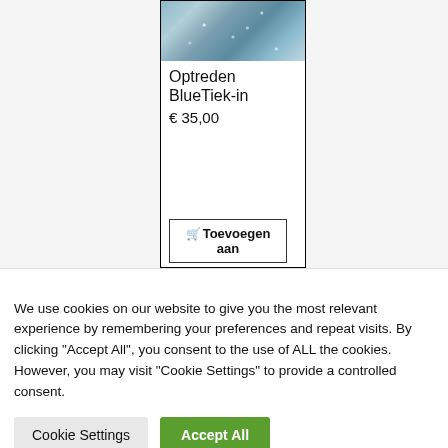[Figure (photo): Product card showing a glittery/sparkly performance outfit or costume, with product title 'Optreden BlueTiek-in', price '€ 35,00', and an add-to-cart button labeled 'Toevoegen aan']
We use cookies on our website to give you the most relevant experience by remembering your preferences and repeat visits. By clicking "Accept All", you consent to the use of ALL the cookies. However, you may visit "Cookie Settings" to provide a controlled consent.
Cookie Settings
Accept All